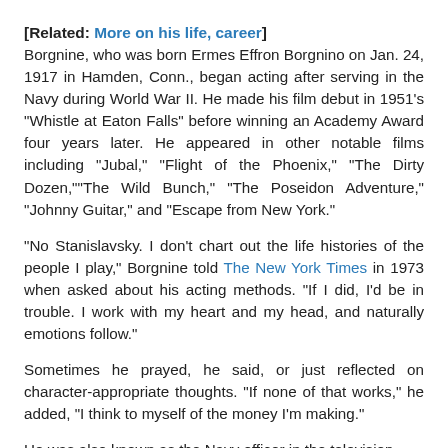[Related: More on his life, career] Borgnine, who was born Ermes Effron Borgnino on Jan. 24, 1917 in Hamden, Conn., began acting after serving in the Navy during World War II. He made his film debut in 1951's "Whistle at Eaton Falls" before winning an Academy Award four years later. He appeared in other notable films including "Jubal," "Flight of the Phoenix," "The Dirty Dozen,""The Wild Bunch," "The Poseidon Adventure," "Johnny Guitar," and "Escape from New York."
"No Stanislavsky. I don't chart out the life histories of the people I play," Borgnine told The New York Times in 1973 when asked about his acting methods. "If I did, I'd be in trouble. I work with my heart and my head, and naturally emotions follow."
Sometimes he prayed, he said, or just reflected on character-appropriate thoughts. "If none of that works," he added, "I think to myself of the money I'm making."
He was also known as the Navy officer in the television series "McHale's Navy," which aired from 1962-66. He...